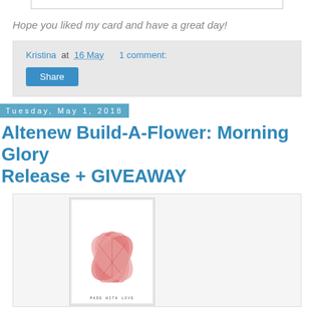[Figure (photo): Top of a card photo, partially visible, with border]
Hope you liked my card and have a great day!
Kristina at 16 May    1 comment:
Share
Tuesday, May 1, 2018
Altenew Build-A-Flower: Morning Glory Release + GIVEAWAY
[Figure (photo): Greeting card with a red Morning Glory flower stamp and text MADE WITH LOVE at bottom]